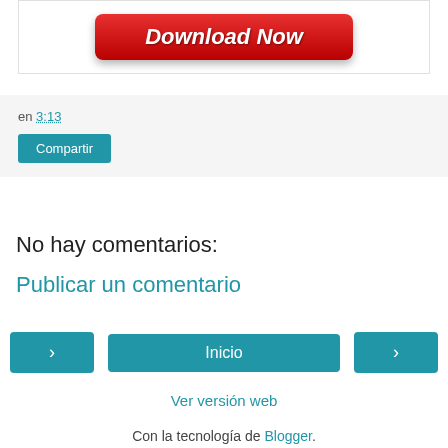[Figure (illustration): Red 'Download Now' button with white bold italic text on a red gradient background with rounded corners]
en 3:13
Compartir
No hay comentarios:
Publicar un comentario
‹  Inicio  ›
Ver versión web
Con la tecnología de Blogger.